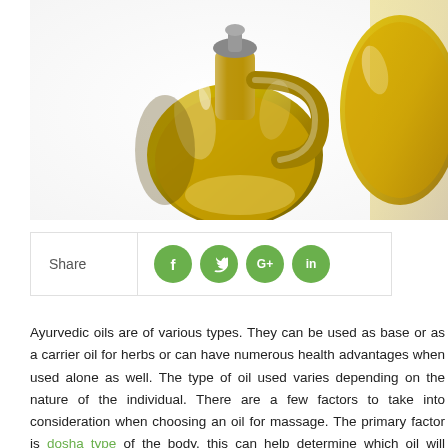[Figure (photo): Two glass bottles/decanters filled with golden-yellow oil (likely olive oil) on a white background. The left bottle is a rounded decanter with a handle, and the right shows a partial view of another bottle.]
[Figure (infographic): Share bar with social media icons: Facebook (f), Twitter (bird), Google+ (G+), LinkedIn (in), all in green circles]
Ayurvedic oils are of various types. They can be used as base or as a carrier oil for herbs or can have numerous health advantages when used alone as well. The type of oil used varies depending on the nature of the individual. There are a few factors to take into consideration when choosing an oil for massage. The primary factor is dosha type of the body, this can help determine which oil will counteract the predominant dosha and maintain balance. The other